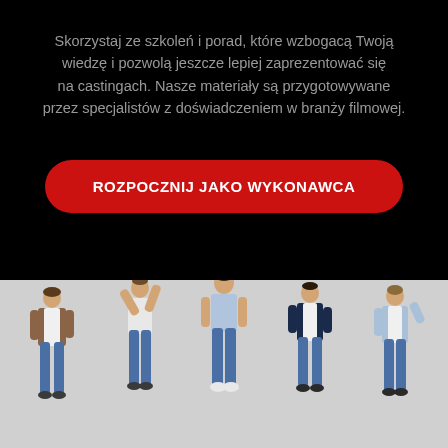Skorzystaj ze szkoleń i porad, które wzbogacą Twoją wiedzę i pozwolą jeszcze lepiej zaprezentować się na castingach. Nasze materiały są przygotowywane przez specjalistów z doświadczeniem w branży filmowej.
ROZPOCZNIJ JAKO WYKONAWCA
[Figure (photo): Five men in casual clothing jumping and posing dynamically against a light gray background]